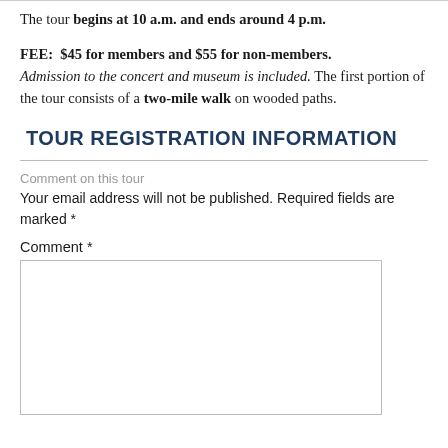The tour begins at 10 a.m. and ends around 4 p.m.
FEE: $45 for members and $55 for non-members. Admission to the concert and museum is included. The first portion of the tour consists of a two-mile walk on wooded paths.
TOUR REGISTRATION INFORMATION
Comment on this tour
Your email address will not be published. Required fields are marked *
Comment *